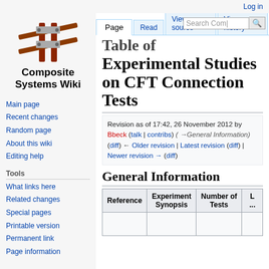Log in
[Figure (logo): Composite Systems Wiki logo with crossed beams graphic]
Composite Systems Wiki
Read
View source | View history
Search Com[posit...]
Table of Experimental Studies on CFT Connection Tests
Revision as of 17:42, 26 November 2012 by Bbeck (talk | contribs) (→General Information) (diff) ← Older revision | Latest revision (diff) | Newer revision → (diff)
General Information
| Reference | Experiment Synopsis | Number of Tests | L... |
| --- | --- | --- | --- |
|  |  |  |  |
Main page
Recent changes
Random page
About this wiki
Editing help
What links here
Related changes
Special pages
Printable version
Permanent link
Page information